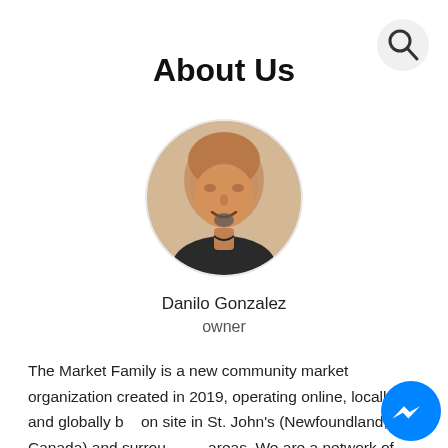[Figure (logo): Search icon — magnifying glass in a light grey circle, top right corner]
About Us
[Figure (photo): Circular profile photo of Danilo Gonzalez, a middle-aged man with a shaved head and goatee, smiling, wearing a dark necklace, beige/warm background]
Danilo Gonzalez
owner
The Market Family is a new community market organization created in 2019, operating online, locally, and globally but on site in St. John's (Newfoundland, Canada) and surrounding areas. We are a network of local entrepreneurs from different
[Figure (logo): Facebook Messenger icon — blue circle with white lightning bolt/chat logo, bottom right corner]